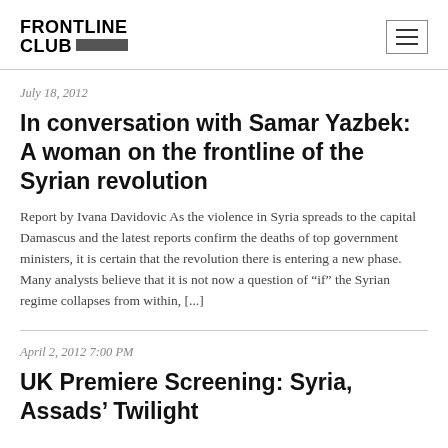FRONTLINE CLUB
July 18, 2012
In conversation with Samar Yazbek: A woman on the frontline of the Syrian revolution
Report by Ivana Davidovic As the violence in Syria spreads to the capital Damascus and the latest reports confirm the deaths of top government ministers, it is certain that the revolution there is entering a new phase. Many analysts believe that it is not now a question of “if” the Syrian regime collapses from within, [...]
April 2, 2012 7:00 PM
UK Premiere Screening: Syria, Assads’ Twilight